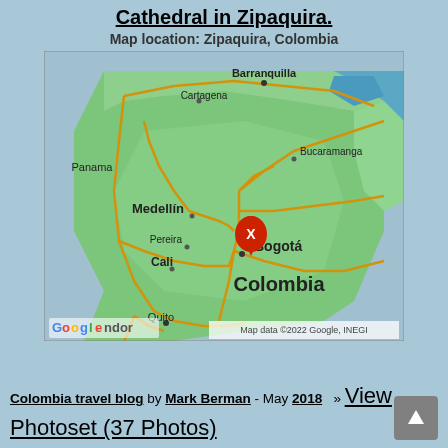Cathedral in Zipaquira.
Map location: Zipaquira, Colombia
[Figure (map): Google Map showing Colombia with a red location pin marker labeled X near Bogotá/Zipaquira. Cities labeled include Barranquilla, Cartagena, Panama, Bucaramanga, Medellín, Pereira, Bogotá, Cali, Quito, and Colombia. Roads shown in yellow/orange. Map data ©2022 Google, INEGI. Google logo visible bottom left.]
Colombia travel blog by Mark Berman - May 2018  » View Photoset (37 Photos)